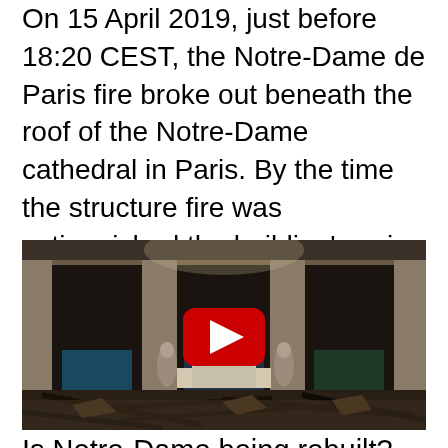On 15 April 2019, just before 18:20 CEST, the Notre-Dame de Paris fire broke out beneath the roof of the Notre-Dame cathedral in Paris. By the time the structure fire was extinguished the building's spire had collapsed, most of its roof had been destroyed and its upper walls were severely damaged.
[Figure (photo): Interior of Notre-Dame cathedral after the fire, showing the altar with a golden cross standing amid collapsed roof debris and charred beams on the floor. A YouTube play button overlay is visible in the center.]
Is Notre-Dame being rebuilt?